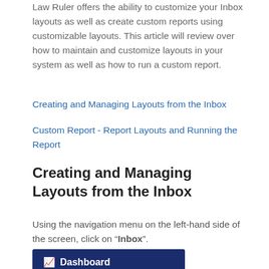Law Ruler offers the ability to customize your Inbox layouts as well as create custom reports using customizable layouts. This article will review over how to maintain and customize layouts in your system as well as how to run a custom report.
Creating and Managing Layouts from the Inbox
Custom Report - Report Layouts and Running the Report
Creating and Managing Layouts from the Inbox
Using the navigation menu on the left-hand side of the screen, click on “Inbox”.
[Figure (screenshot): A screenshot of a navigation menu showing a Dashboard item with a chart icon, and a red-outlined box below it indicating the Inbox menu item.]